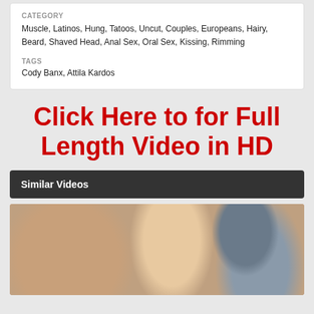CATEGORY
Muscle, Latinos, Hung, Tatoos, Uncut, Couples, Europeans, Hairy, Beard, Shaved Head, Anal Sex, Oral Sex, Kissing, Rimming
TAGS
Cody Banx, Attila Kardos
Click Here to for Full Length Video in HD
Similar Videos
[Figure (photo): Thumbnail image of two people]